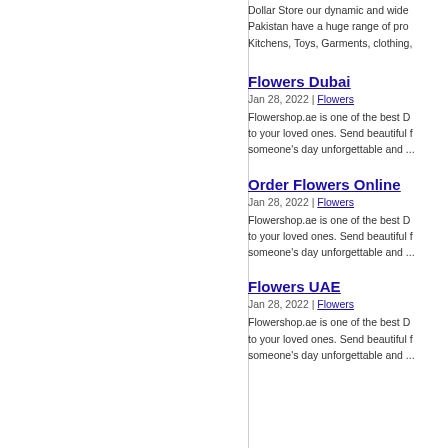Dollar Store our dynamic and wide... Pakistan have a huge range of pro... Kitchens, Toys, Garments, clothing,...
Flowers Dubai
Jan 28, 2022 | Flowers
Flowershop.ae is one of the best D... to your loved ones. Send beautiful f... someone's day unforgettable and ...
Order Flowers Online
Jan 28, 2022 | Flowers
Flowershop.ae is one of the best D... to your loved ones. Send beautiful f... someone's day unforgettable and ...
Flowers UAE
Jan 28, 2022 | Flowers
Flowershop.ae is one of the best D... to your loved ones. Send beautiful f... someone's day unforgettable and ...